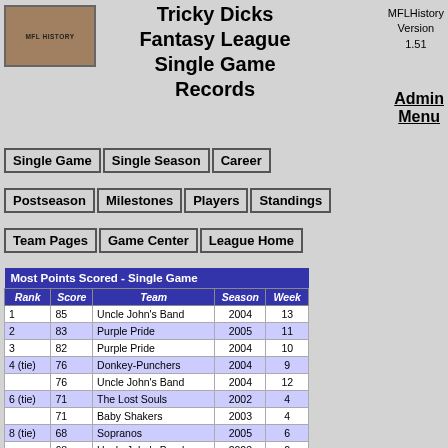Tricky Dicks Fantasy League Single Game Records
MFLHistory Version 1.51
Admin Menu
Single Game
Single Season
Career
Postseason
Milestones
Players
Standings
Team Pages
Game Center
League Home
| Rank | Score | Team | Season | Week |
| --- | --- | --- | --- | --- |
| 1 | 85 | Uncle John's Band | 2004 | 13 |
| 2 | 83 | Purple Pride | 2005 | 11 |
| 3 | 82 | Purple Pride | 2004 | 10 |
| 4 (tie) | 76 | Donkey-Punchers | 2004 | 9 |
|  | 76 | Uncle John's Band | 2004 | 12 |
| 6 (tie) | 71 | The Lost Souls | 2002 | 4 |
|  | 71 | Baby Shakers | 2003 | 4 |
| 8 (tie) | 68 | Sopranos | 2005 | 6 |
|  | 68 | Uncle John's Band | 2003 | 2 |
| 10 (tie) | 67 | The Lost Souls | 2002 | 2 |